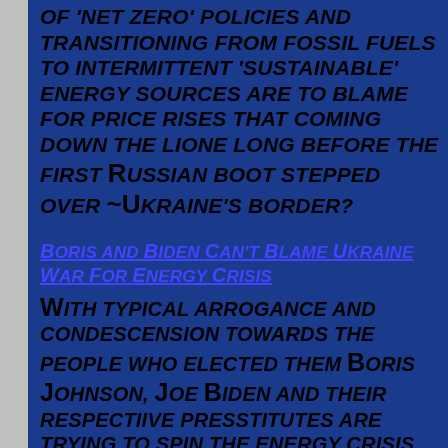OF 'NET ZERO' POLICIES AND TRANSITIONING FROM FOSSIL FUELS TO INTERMITTENT 'SUSTAINABLE' ENERGY SOURCES ARE TO BLAME FOR PRICE RISES THAT COMING DOWN THE LIONE LONG BEFORE THE FIRST RUSSIAN BOOT STEPPED OVER ~UKRAINE'S BORDER?
BORIS AND BIDEN CAN'T BLAME UKRAINE WAR FOR ENERGY CRISIS
WITH TYPICAL ARROGANCE AND CONDESCENSION TOWARDS THE PEOPLE WHO ELECTED THEM BORIS JOHNSON, JOE BIDEN AND THEIR RESPECTIIVE PRESSTITUTES ARE TRYING TO SPIN THE ENERGY CRISIS EUROPE AND NORTH AMERICA ARE CURRENTLY FACING AS SOMEHOW BEING LINKED TO THE